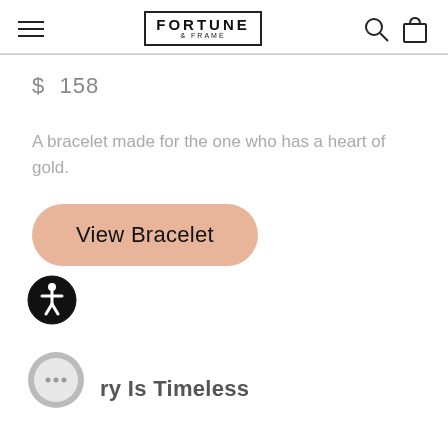FORTUNE & FRAME
$ 158
A bracelet made for the one who has a heart of gold.
[Figure (other): Pink rounded button with text 'View Bracelet']
[Figure (other): Accessibility icon: person in circle, black outline]
[Figure (other): Gray chat bubble icon with ellipsis]
ry Is Timeless